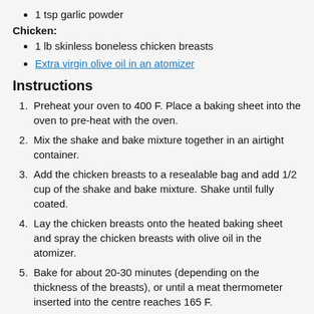1 tsp garlic powder
Chicken:
1 lb skinless boneless chicken breasts
Extra virgin olive oil in an atomizer
Instructions
Preheat your oven to 400 F. Place a baking sheet into the oven to pre-heat with the oven.
Mix the shake and bake mixture together in an airtight container.
Add the chicken breasts to a resealable bag and add 1/2 cup of the shake and bake mixture. Shake until fully coated.
Lay the chicken breasts onto the heated baking sheet and spray the chicken breasts with olive oil in the atomizer.
Bake for about 20-30 minutes (depending on the thickness of the breasts), or until a meat thermometer inserted into the centre reaches 165 F.
Store the shake and bake mixture in an airtight container in a cool place for up to 2 months.